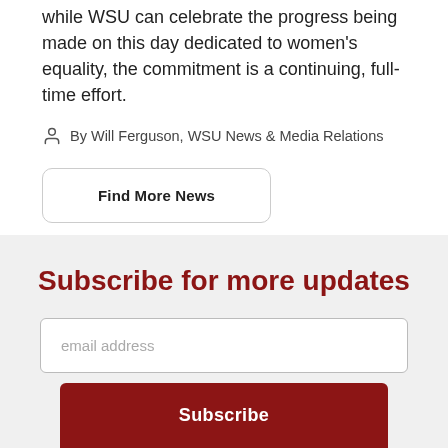while WSU can celebrate the progress being made on this day dedicated to women's equality, the commitment is a continuing, full-time effort.
By Will Ferguson, WSU News & Media Relations
Find More News
Subscribe for more updates
email address
Subscribe